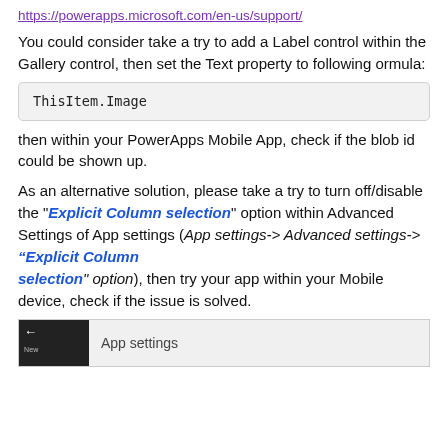https://powerapps.microsoft.com/en-us/support/
You could consider take a try to add a Label control within the Gallery control, then set the Text property to following ormula:
then within your PowerApps Mobile App, check if the blob id could be shown up.
As an alternative solution, please take a try to turn off/disable the "Explicit Column selection" option within Advanced Settings of App settings (App settings-> Advanced settings-> "Explicit Column selection" option), then try your app within your Mobile device, check if the issue is solved.
[Figure (screenshot): Partial screenshot showing App settings screen with back arrow and dark left panel with 'New' label]